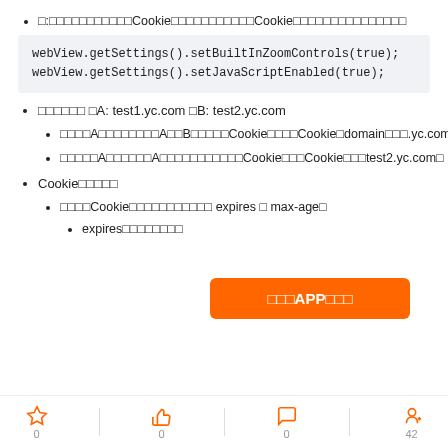□:□□□□□□□□□□□Cookie□□□□□□□□□□□Cookie□□□□□□□□□□□□□□□
webView.getSettings().setBuiltInZoomControls(true);
webView.getSettings().setJavaScriptEnabled(true);
□□□□□□ □A: test1.yc.com □B: test2.yc.com
□□□□A□□□□□□□□A□□B□□□□□Cookie□□□□Cookie□domain□□□.yc.com□
□□□□□A□□□□□□A□□□□□□□□□□□Cookie□□□Cookie□□□test2.yc.com□
Cookie□□□□□
□□□□Cookie□□□□□□□□□□□ expires □ max-age□
expires□□□□□□□□
[Figure (infographic): Orange button labeled □□□APP□□□]
0  |  0  |  0  |  42